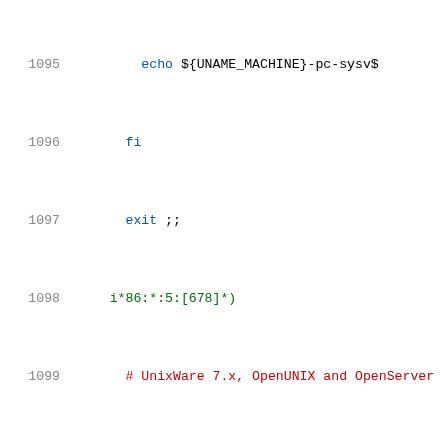[Figure (screenshot): Shell script source code lines 1095-1116 with syntax highlighting. Line numbers in gray on left, keywords in blue, string patterns in green/red, comments in red, variable names in black.]